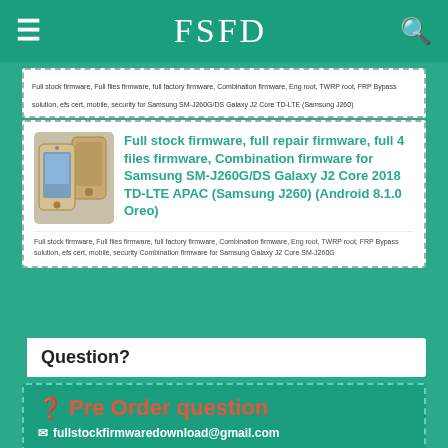FSFD
Full stock firmware, Full files firmware, full factory firmware, Combination firmware, Eng root, TWRP root, FRP Bypass solution, efs cert, mobile, security for Samsung SM-J260G/DS Galaxy J2 Core TD-LTE (Samsung J260)
[Figure (photo): Samsung SM-J260G Galaxy J2 Core smartphone front and back view in gold color]
Full stock firmware, full repair firmware, full 4 files firmware, Combination firmware for Samsung SM-J260G/DS Galaxy J2 Core 2018 TD-LTE APAC (Samsung J260) (Android 8.1.0 Oreo)
Full stock firmware, Full files firmware, full factory firmware, Combination firmware, Eng root, TWRP root, FRP Bypass solution, efs cert, mobile, security Combination firmware for Samsung Galaxy J2 Core SM-J260G
Question?
Pre Order question
fullstockfirmwaredownload@gmail.com
fullstockfirmwaredownload